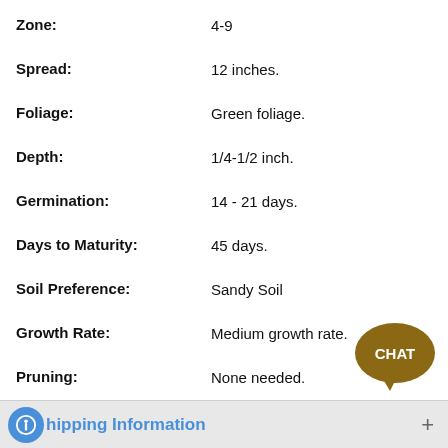| Property | Value |
| --- | --- |
| Zone: | 4-9 |
| Spread: | 12 inches. |
| Foliage: | Green foliage. |
| Depth: | 1/4-1/2 inch. |
| Germination: | 14 - 21 days. |
| Days to Maturity: | 45 days. |
| Soil Preference: | Sandy Soil |
| Growth Rate: | Medium growth rate. |
| Pruning: | None needed. |
| Form: | Herb, coriander / cilantro |
| Seed Count: | Approximately 50 seeds per packet. |
| Size: | 50 Seed Pkt |
hipping Information